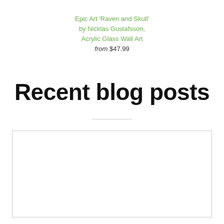Epic Art 'Raven and Skull' by Nicklas Gustafsson, Acrylic Glass Wall Art from $47.99
Recent blog posts
[Figure (other): Empty white rectangle with border, placeholder for a blog post image]